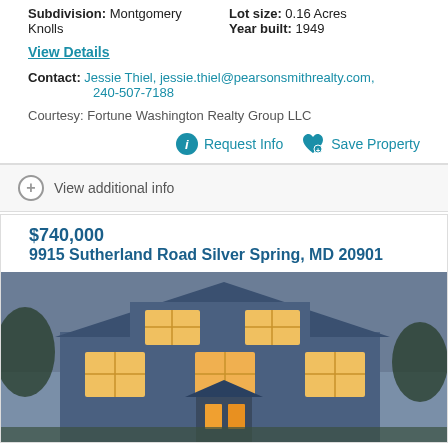Subdivision: Montgomery Knolls
Lot size: 0.16 Acres
Year built: 1949
View Details
Contact: Jessie Thiel, jessie.thiel@pearsonsmithrealty.com, 240-507-7188
Courtesy: Fortune Washington Realty Group LLC
Request Info
Save Property
View additional info
$740,000
9915 Sutherland Road Silver Spring, MD 20901
[Figure (photo): Exterior photo of a blue house at dusk with warm interior lights glowing through windows]